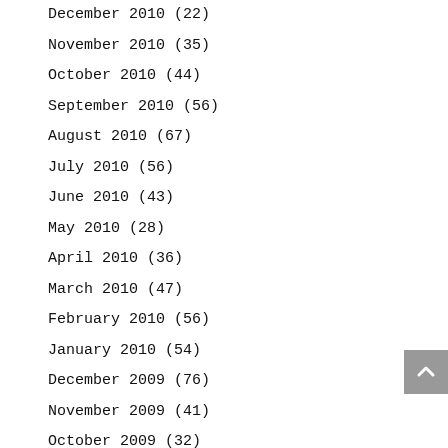December 2010 (22)
November 2010 (35)
October 2010 (44)
September 2010 (56)
August 2010 (67)
July 2010 (56)
June 2010 (43)
May 2010 (28)
April 2010 (36)
March 2010 (47)
February 2010 (56)
January 2010 (54)
December 2009 (76)
November 2009 (41)
October 2009 (32)